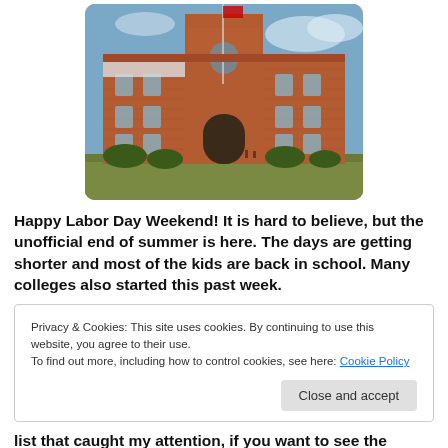[Figure (photo): Photograph of a large red brick building, likely a school or college, with arched windows and a central tower, flagpole in front, green lawn, partially cloudy sky.]
Happy Labor Day Weekend!  It is hard to believe, but the unofficial end of summer is here.  The days are getting shorter and most of the kids are back in school.  Many colleges also started this past week.
Privacy & Cookies: This site uses cookies. By continuing to use this website, you agree to their use.
To find out more, including how to control cookies, see here: Cookie Policy
Close and accept
list that caught my attention, if you want to see the